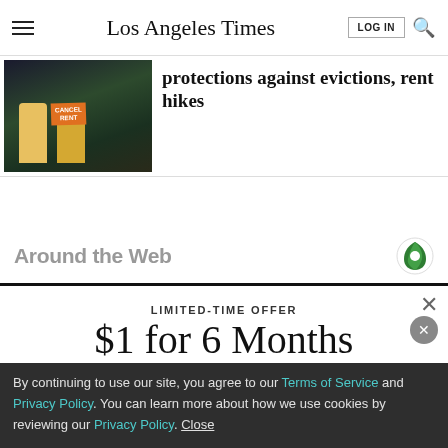Los Angeles Times
[Figure (photo): People holding a Cancel Rent sign at a protest]
protections against evictions, rent hikes
Around the Web
LIMITED-TIME OFFER
$1 for 6 Months
SUBSCRIBE NOW
By continuing to use our site, you agree to our Terms of Service and Privacy Policy. You can learn more about how we use cookies by reviewing our Privacy Policy. Close